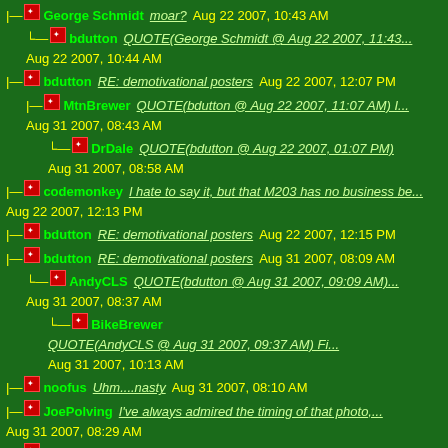|- George Schmidt moar? Aug 22 2007, 10:43 AM
|  L bdutton QUOTE(George Schmidt @ Aug 22 2007, 11:43... Aug 22 2007, 10:44 AM
|- bdutton RE: demotivational posters Aug 22 2007, 12:07 PM
|  |- MtnBrewer QUOTE(bdutton @ Aug 22 2007, 11:07 AM) I... Aug 31 2007, 08:43 AM
|  L DrDale QUOTE(bdutton @ Aug 22 2007, 01:07 PM) Aug 31 2007, 08:58 AM
|- codemonkey I hate to say it, but that M203 has no business be... Aug 22 2007, 12:13 PM
|- bdutton RE: demotivational posters Aug 22 2007, 12:15 PM
|- bdutton RE: demotivational posters Aug 31 2007, 08:09 AM
|  L AndyCLS QUOTE(bdutton @ Aug 31 2007, 09:09 AM)... Aug 31 2007, 08:37 AM
|     L BikeBrewer QUOTE(AndyCLS @ Aug 31 2007, 09:37 AM) Fi... Aug 31 2007, 10:13 AM
|- noofus Uhm....nasty Aug 31 2007, 08:10 AM
|- JoePolving I've always admired the timing of that photo,... Aug 31 2007, 08:29 AM
|- Orudis RE: demotivational posters Aug 31 2007, 08:51 AM
|- bdutton RE: demotivational posters Aug 31 2007, 11:16 AM
|- HumDum RE: demotivational posters Aug 31 2007, 09:04 PM
|- HumDum RE: demotivational posters Aug 31 2007, 09:36 PM
|- Chauvan Damnit! I can't wait till i get back and... Aug 31 2007, 09:37 PM